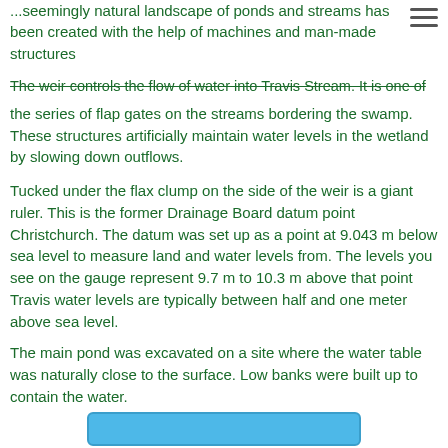...seemingly natural landscape of ponds and streams has been created with the help of machines and man-made structures
The weir controls the flow of water into Travis Stream. It is one of the series of flap gates on the streams bordering the swamp. These structures artificially maintain water levels in the wetland by slowing down outflows.
Tucked under the flax clump on the side of the weir is a giant ruler. This is the former Drainage Board datum point Christchurch. The datum was set up as a point at 9.043 m below sea level to measure land and water levels from. The levels you see on the gauge represent 9.7 m to 10.3 m above that point Travis water levels are typically between half and one meter above sea level.
The main pond was excavated on a site where the water table was naturally close to the surface. Low banks were built up to contain the water.
[Figure (other): Blue button/navigation element at bottom of page]